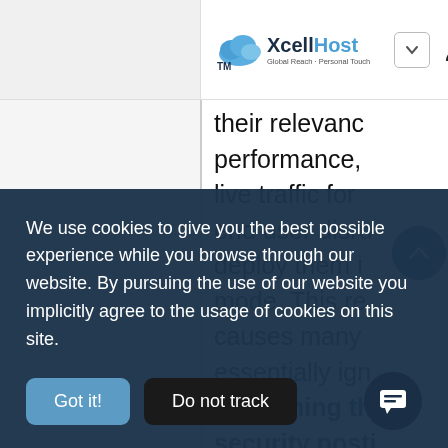XcellHost — Global Reach · Personal Touch — Navigation bar with logo, chevron, user icon, search icon, and hamburger menu
their relevance performance, live traffic for end user disru deploy them i mode. This re causes many essentially ign weakening th security posti
We use cookies to give you the best possible experience while you browse through our website. By pursuing the use of our website you implicitly agree to the usage of cookies on this site.
Got it!   Do not track